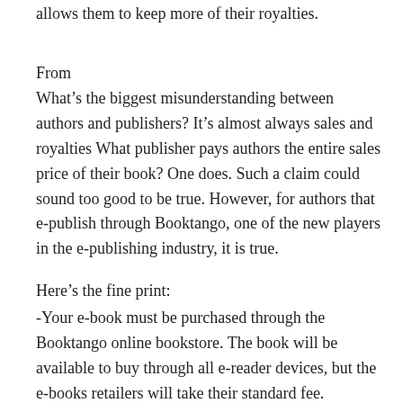allows them to keep more of their royalties.
From
What’s the biggest misunderstanding between authors and publishers? It’s almost always sales and royalties What publisher pays authors the entire sales price of their book? One does. Such a claim could sound too good to be true. However, for authors that e-publish through Booktango, one of the new players in the e-publishing industry, it is true.
Here’s the fine print:
-Your e-book must be purchased through the Booktango online bookstore. The book will be available to buy through all e-reader devices, but the e-books retailers will take their standard fee. Booktango takes nothing. -The offer is good for books published via Booktango